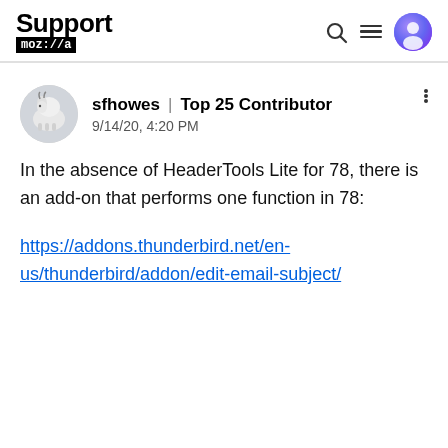Support mozilla//a
sfhowes | Top 25 Contributor
9/14/20, 4:20 PM
In the absence of HeaderTools Lite for 78, there is an add-on that performs one function in 78:
https://addons.thunderbird.net/en-us/thunderbird/addon/edit-email-subject/